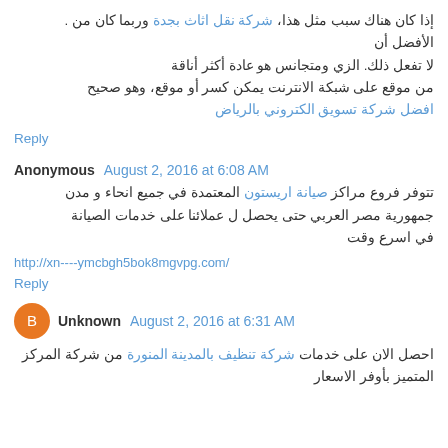إذا كان هناك سبب مثل هذا، شركة نقل اثاث بجدة وربما كان من . الأفضل أن
لا تفعل ذلك. الزي ومتجانس هو عادة أكثر أناقة
من موقع على شبكة الانترنت يمكن كسر أو موقع، وهو صحيح
افضل شركة تسويق الكتروني بالرياض
Reply
Anonymous  August 2, 2016 at 6:08 AM
تتوفر فروع مراكز صيانة اريستون المعتمدة في جميع انحاء و مدن جمهورية مصر العربي حتى يحصل ل عملائنا على خدمات الصيانة في اسرع وقت
http://xn----ymcbgh5bok8mgvpg.com/
Reply
Unknown  August 2, 2016 at 6:31 AM
احصل الان على خدمات شركة تنظيف بالمدينة المنورة من شركة المركز المتميز بأوفر الاسعار